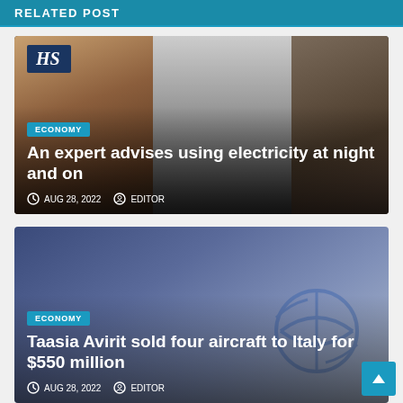RELATED POST
[Figure (photo): Composite image of three photos showing kitchen/household appliance usage. Top left has HS logo on dark blue background. Overlay shows ECONOMY badge and article title with date and author metadata.]
An expert advises using electricity at night and on
AUG 28, 2022   EDITOR
[Figure (photo): Photo showing aircraft-related imagery with blue tones, featuring what appears to be a globe/world logo with aviation arrows. Overlay shows ECONOMY badge and article title with date and author metadata.]
Taasia Avirit sold four aircraft to Italy for $550 million
AUG 28, 2022   EDITOR